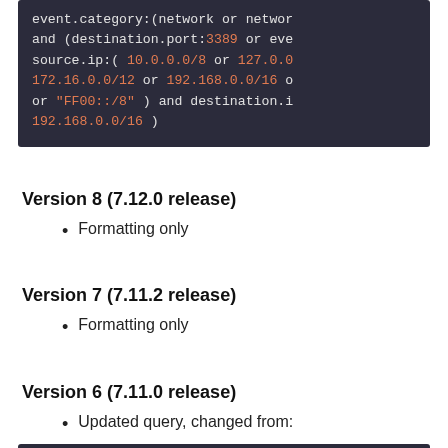[Figure (screenshot): Code block showing a network query with highlighted IP addresses and ports in orange on dark background. Text reads: event.category:(network or networ... and (destination.port:3389 or eve... source.ip:( 10.0.0.0/8 or 127.0.0... 172.16.0.0/12 or 192.168.0.0/16 o... or "FF00::/8" ) and destination.i... 192.168.0.0/16 )]
Version 8 (7.12.0 release)
Formatting only
Version 7 (7.11.2 release)
Formatting only
Version 6 (7.11.0 release)
Updated query, changed from:
[Figure (screenshot): Partial code block at bottom of page, dark background, content cut off]